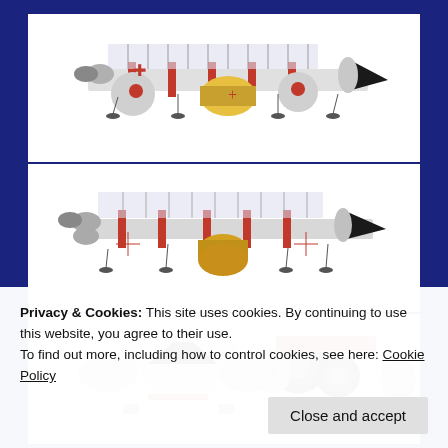[Figure (photo): Top view of a space vehicle / spacecraft toy model (similar to Space: 1999 Eagle Transporter) - three photographs showing different angles: side view from left, side view from right/opposite angle, and front/rear views]
Privacy & Cookies: This site uses cookies. By continuing to use this website, you agree to their use.
To find out more, including how to control cookies, see here: Cookie Policy
Close and accept